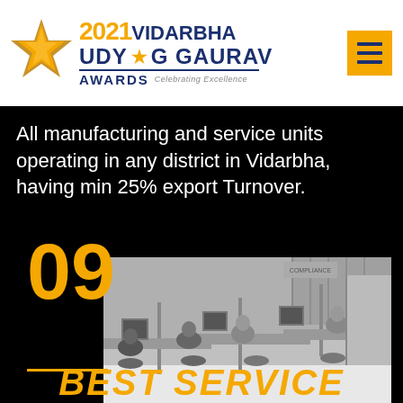[Figure (logo): 2021 Vidarbha Udyog Gaurav Awards logo with gold star on left, navy blue text, and gold hamburger menu icon on right]
All manufacturing and service units operating in any district in Vidarbha, having min 25% export Turnover.
[Figure (photo): Number 09 in gold overlaid on a black and white photograph of an office environment with employees working at desks with computers. Gold line accent and 'BEST SERVICE' text in gold italic at bottom.]